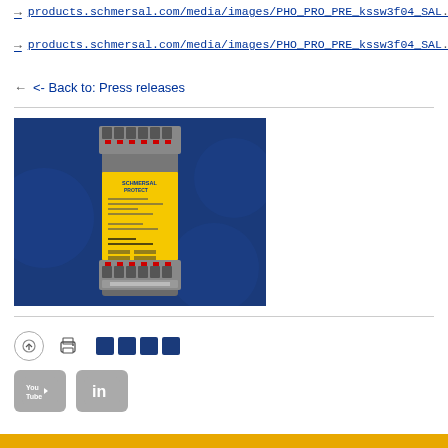→ products.schmersal.com/media/images/PHO_PRO_PRE_kssw3f04_SAL...
→ products.schmersal.com/media/images/PHO_PRO_PRE_kssw3f04_SAL...
<- Back to: Press releases
[Figure (photo): Schmersal Protect safety relay module - a DIN rail mounted device with yellow front panel label, gray terminal blocks at top and bottom, on a blue background]
Social media and print icons: YouTube, LinkedIn, print, share buttons